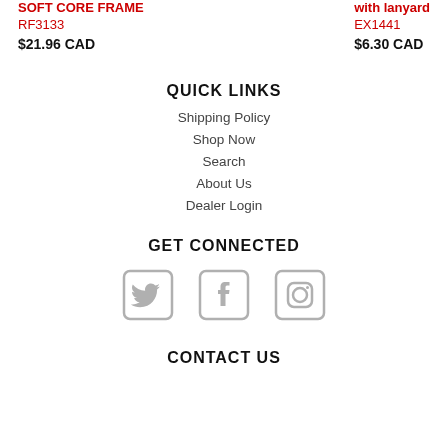SOFT CORE FRAME RF3133 $21.96 CAD
with lanyard EX1441 $6.30 CAD
QUICK LINKS
Shipping Policy
Shop Now
Search
About Us
Dealer Login
GET CONNECTED
[Figure (illustration): Social media icons: Twitter bird, Facebook F, Instagram camera]
CONTACT US